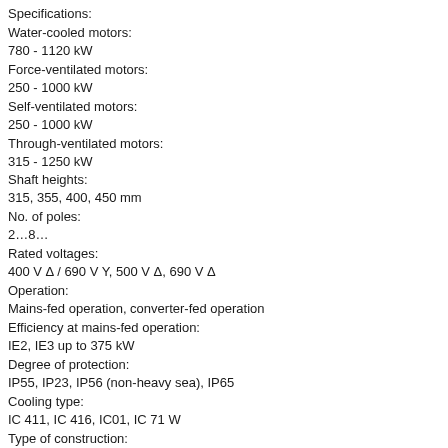Specifications:
Water-cooled motors:
780 - 1120 kW
Force-ventilated motors:
250 - 1000 kW
Self-ventilated motors:
250 - 1000 kW
Through-ventilated motors:
315 - 1250 kW
Shaft heights:
315, 355, 400, 450 mm
No. of poles:
2…8…
Rated voltages:
400 V Δ / 690 V Y, 500 V Δ, 690 V Δ
Operation:
Mains-fed operation, converter-fed operation
Efficiency at mains-fed operation:
IE2, IE3 up to 375 kW
Degree of protection:
IP55, IP23, IP56 (non-heavy sea), IP65
Cooling type:
IC 411, IC 416, IC01, IC 71 W
Type of construction:
IM B3, IM B 35, IM V1, IM B5, IM V5, IM V6
Bearings:
Roller bearings
Regulations/Standards:
IEC, EN